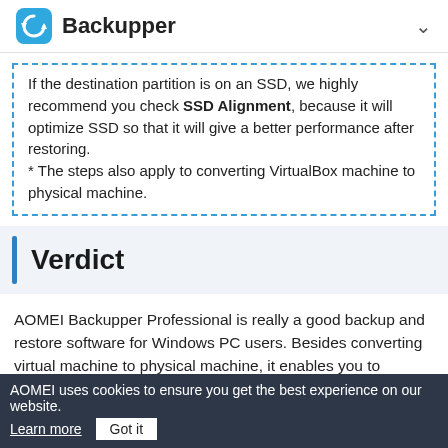Backupper
If the destination partition is on an SSD, we highly recommend you check SSD Alignment, because it will optimize SSD so that it will give a better performance after restoring.
* The steps also apply to converting VirtualBox machine to physical machine.
Verdict
AOMEI Backupper Professional is really a good backup and restore software for Windows PC users. Besides converting virtual machine to physical machine, it enables you to convert physical machine to virtual machine like VirtualBox and VMware without effort. Beyond that, it even lets you create a...
AOMEI uses cookies to ensure you get the best experience on our website. Learn more  Got it